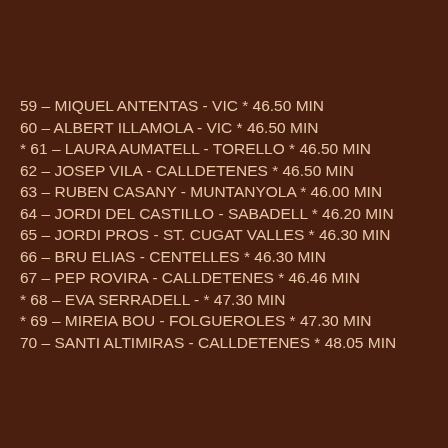59 – MIQUEL ANTENTAS - VIC * 46.50 MIN
60 – ALBERT ILLAMOLA - VIC * 46.50 MIN
* 61 – LAURA AUMATELL - TORELLO * 46.50 MIN
62 – JOSEP VILA - CALLDETENES * 46.50 MIN
63 – RUBEN CASANY - MUNTANYOLA * 46.00 MIN
64 – JORDI DEL CASTILLO - SABADELL * 46.20 MIN
65 – JORDI PROS - ST. CUGAT VALLES * 46.30 MIN
66 – BRU ELIAS - CENTELLES * 46.30 MIN
67 – PEP ROVIRA - CALLDETENES * 46.46 MIN
* 68 – EVA SERRADELL - * 47.30 MIN
* 69 – MIREIA BOU - FOLGUEROLES * 47.30 MIN
70 – SANTI ALTIMIRAS - CALLDETENES * 48.05 MIN